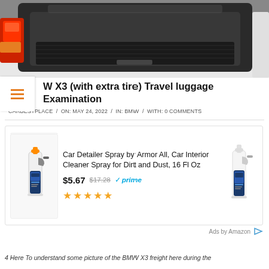[Figure (photo): Photo of open BMW X3 trunk/cargo area, black rubber mat, seen from outside with red tail light visible on left]
W X3 (with extra tire) Travel luggage Examination
CARBESTPLACE / ON: MAY 24, 2022 / IN: BMW / WITH: 0 COMMENTS
[Figure (other): Amazon advertisement for Car Detailer Spray by Armor All, Car Interior Cleaner Spray for Dirt and Dust, 16 Fl Oz. Price $5.67 (was $17.28), Amazon Prime eligible, 5 star rating. Shows two spray bottle product images.]
Ads by Amazon